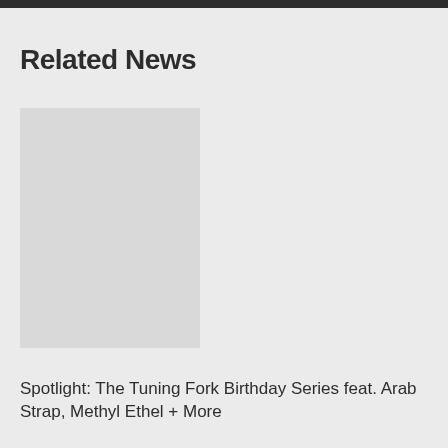Related News
[Figure (photo): Image placeholder for related news article thumbnail]
Spotlight: The Tuning Fork Birthday Series feat. Arab Strap, Methyl Ethel + More